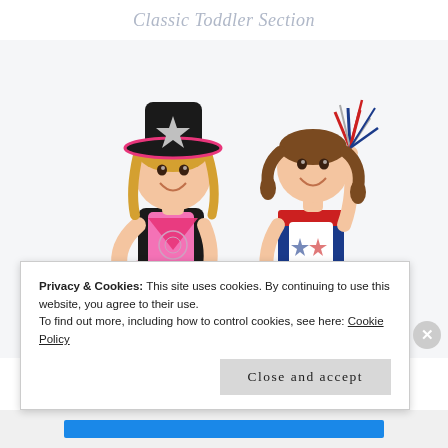Classic Toddler Section
[Figure (photo): Two young girls in costumes on white background: left child in pink cowgirl outfit with black hat and cow-print skirt, right child in navy/red/white cheerleader outfit holding a pom-pom]
Privacy & Cookies: This site uses cookies. By continuing to use this website, you agree to their use.
To find out more, including how to control cookies, see here: Cookie Policy
Close and accept